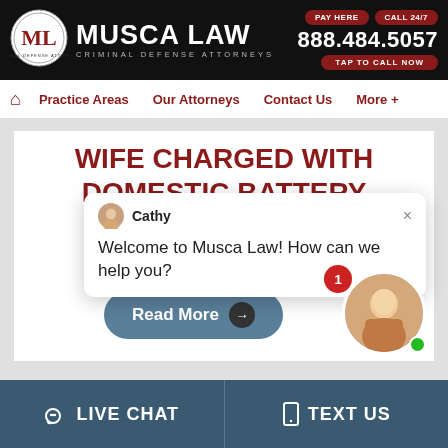Musca Law Criminal Defense Attorneys | PAY HERE | CALL 24/7 | 888.484.5057 | TAP TO CALL NOW
[Figure (logo): Musca Law logo with circular seal and firm name]
Practice Areas | Our Attorneys | Contact Us | More +
WIFE CHARGED WITH DOMESTIC BATTERY AGAINST
Cathy
Welcome to Musca Law! How can we help you?
Read More
LIVE CHAT | TEXT US